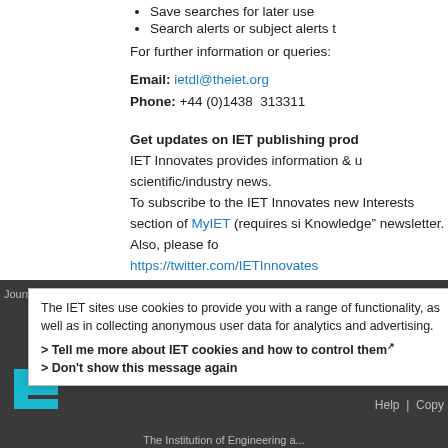Save searches for later use
Search alerts or subject alerts t
For further information or queries:
Email: ietdl@theiet.org
Phone: +44 (0)1438  313311
Get updates on IET publishing prod
IET Innovates provides information & u scientific/industry news.
To subscribe to the IET Innovates new Interests section of MyIET (requires si Knowledge" newsletter. Also, please fo https://twitter.com/IETInnovates
The IET sites use cookies to provide you with a range of functionality, as well as in collecting anonymous user data for analytics and advertising.
> Tell me more about IET cookies and how to control them
> Don't show this message again
Journ...   Help  |  Copy
The Institution of Engineering a...